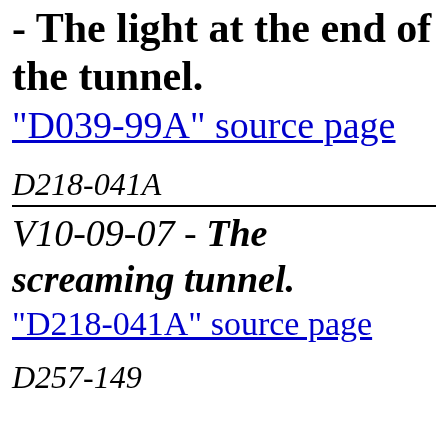- The light at the end of the tunnel.
"D039-99A" source page
D218-041A
V10-09-07 - The screaming tunnel.
"D218-041A" source page
D257-149